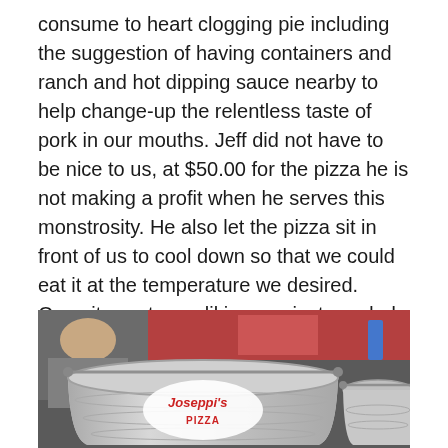consume to heart clogging pie including the suggestion of having containers and ranch and hot dipping sauce nearby to help change-up the relentless taste of pork in our mouths. Jeff did not have to be nice to us, at $50.00 for the pizza he is not making a profit when he serves this monstrosity. He also let the pizza sit in front of us to cool down so that we could eat it at the temperature we desired. Once it was to our liking, we just needed to let him know so he could start the timer. James and I locked eyes after 5 minutes of cool down and gave Jeff the thumbs up.
[Figure (photo): A silver/galvanized metal bucket with a 'Joseppi's Pizza' logo sticker on it, with another similar bucket visible to the right. People are visible in the background.]